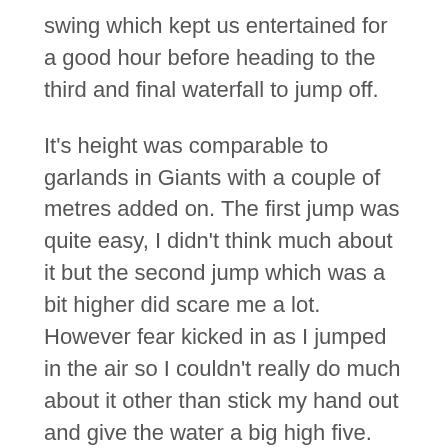swing which kept us entertained for a good hour before heading to the third and final waterfall to jump off.
It's height was comparable to garlands in Giants with a couple of metres added on. The first jump was quite easy, I didn't think much about it but the second jump which was a bit higher did scare me a lot. However fear kicked in as I jumped in the air so I couldn't really do much about it other than stick my hand out and give the water a big high five. Owchy.
A great day was had exhausting myself but had so much fun. Emotions were dampened a little when we arrived at the car to find stuff had been stolen but that has all been found with thanks to Issam's tablet for soins the cloud and left without a second thing...